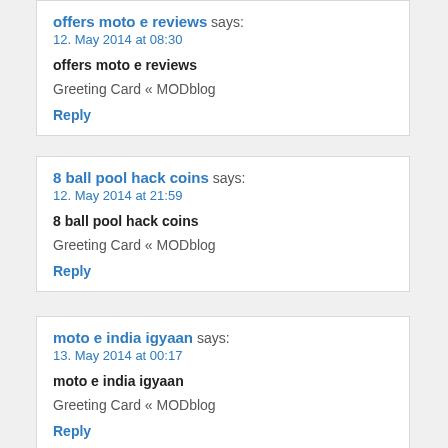offers moto e reviews says:
12. May 2014 at 08:30
offers moto e reviews
Greeting Card « MODblog
Reply
8 ball pool hack coins says:
12. May 2014 at 21:59
8 ball pool hack coins
Greeting Card « MODblog
Reply
moto e india igyaan says:
13. May 2014 at 00:17
moto e india igyaan
Greeting Card « MODblog
Reply
cheap moto e 16gb sim free says:
13. May 2014 at 18:03
cheap moto e 16gb sim free